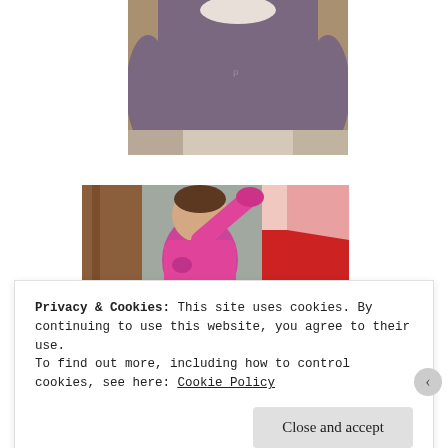[Figure (photo): A baby wearing a purple/lavender long-sleeve onesie, sitting, photographed from the neck down]
[Figure (photo): A toddler girl in a pink jacket with her arm raised, standing next to someone in red pants, indoors near wooden stairs]
Privacy & Cookies: This site uses cookies. By continuing to use this website, you agree to their use.
To find out more, including how to control cookies, see here: Cookie Policy
Close and accept